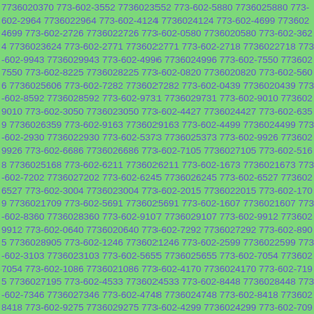7736020370 773-602-3552 7736023552 773-602-5880 7736025880 773-602-2964 7736022964 773-602-4124 7736024124 773-602-4699 7736024699 773-602-2726 7736022726 773-602-0580 7736020580 773-602-3624 7736023624 773-602-2771 7736022771 773-602-2718 7736022718 773-602-9943 7736029943 773-602-4996 7736024996 773-602-7550 7736027550 773-602-8225 7736028225 773-602-0820 7736020820 773-602-5606 7736025606 773-602-7282 7736027282 773-602-0439 7736020439 773-602-8592 7736028592 773-602-9731 7736029731 773-602-9010 7736029010 773-602-3050 7736023050 773-602-4427 7736024427 773-602-6359 7736026359 773-602-9163 7736029163 773-602-4499 7736024499 773-602-2930 7736022930 773-602-5373 7736025373 773-602-9926 7736029926 773-602-6686 7736026686 773-602-7105 7736027105 773-602-5168 7736025168 773-602-6211 7736026211 773-602-1673 7736021673 773-602-7202 7736027202 773-602-6245 7736026245 773-602-6527 7736026527 773-602-3004 7736023004 773-602-2015 7736022015 773-602-1709 7736021709 773-602-5691 7736025691 773-602-1607 7736021607 773-602-8360 7736028360 773-602-9107 7736029107 773-602-9912 7736029912 773-602-0640 7736020640 773-602-7292 7736027292 773-602-8905 7736028905 773-602-1246 7736021246 773-602-2599 7736022599 773-602-3103 7736023103 773-602-5655 7736025655 773-602-7054 7736027054 773-602-1086 7736021086 773-602-4170 7736024170 773-602-7195 7736027195 773-602-4533 7736024533 773-602-8448 7736028448 773-602-7346 7736027346 773-602-4748 7736024748 773-602-8418 7736028418 773-602-9275 7736029275 773-602-4299 7736024299 773-602-7095 7736027095 773-602-